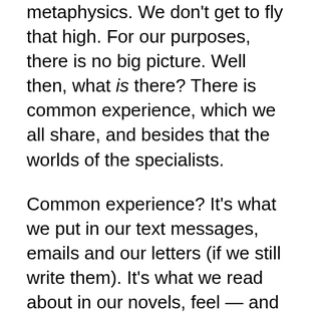metaphysics. We don't get to fly that high. For our purposes, there is no big picture. Well then, what is there? There is common experience, which we all share, and besides that the worlds of the specialists.
Common experience? It's what we put in our text messages, emails and our letters (if we still write them). It's what we read about in our novels, feel — and have to field — in our social, personal and bodily lives. It's other animals, inanimate things, man-made things, what we call them and how we deal with them ordinarily.
The worlds of the specialists? In them we find the micro-particle physicists, the automobile manufacturers, the house painters, the photographers, the newscasters, the bankers, the grammarians, the poets, the priests, the chefs, the geologists, the botonists, the administrators of various institutions, the lawyers, and all we come at the